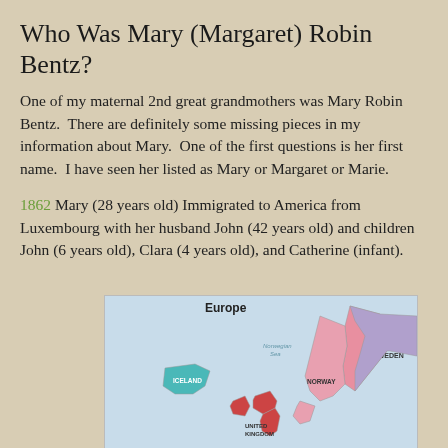Who Was Mary (Margaret) Robin Bentz?
One of my maternal 2nd great grandmothers was Mary Robin Bentz.  There are definitely some missing pieces in my information about Mary.  One of the first questions is her first name.  I have seen her listed as Mary or Margaret or Marie.
1862 Mary (28 years old) Immigrated to America from Luxembourg with her husband John (42 years old) and children John (6 years old), Clara (4 years old), and Catherine (infant).
[Figure (map): Map of Europe showing Iceland, Norway, Sweden, United Kingdom and surrounding areas with country regions colored in pink, purple, and teal.]